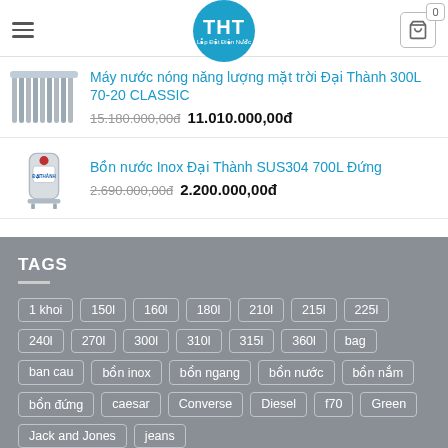[Figure (logo): THT circular logo in teal/blue]
Máy nước nóng năng lượng mặt trời Đại Thành 300L 70-20 CLASSIC
15.180.000,00đ  11.010.000,00đ
Bồn nước Inox Đại Thành SUS304 700L Đứng
2.690.000,00đ  2.200.000,00đ
TAGS
1 khoi
150l
160l
180l
210l
215l
225l
240l
270l
300l
310l
315l
360l
bag
ban cau
bồn inox
bồn ngang
bồn nước
bồn nắm
bồn đứng
caesar
Converse
Diesel
f70
Green
Jack and Jones
jeans